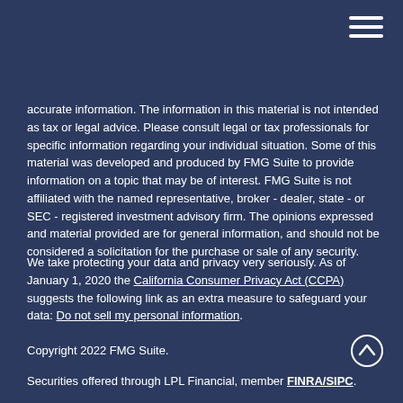accurate information. The information in this material is not intended as tax or legal advice. Please consult legal or tax professionals for specific information regarding your individual situation. Some of this material was developed and produced by FMG Suite to provide information on a topic that may be of interest. FMG Suite is not affiliated with the named representative, broker - dealer, state - or SEC - registered investment advisory firm. The opinions expressed and material provided are for general information, and should not be considered a solicitation for the purchase or sale of any security.
We take protecting your data and privacy very seriously. As of January 1, 2020 the California Consumer Privacy Act (CCPA) suggests the following link as an extra measure to safeguard your data: Do not sell my personal information.
Copyright 2022 FMG Suite.
Securities offered through LPL Financial, member FINRA/SIPC.